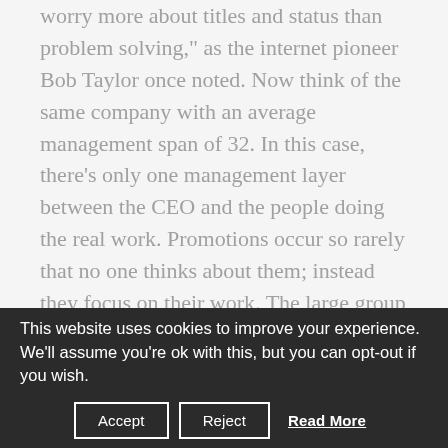worry more about titles and status than problem solving," as the internet pioneer Bob Taylor once noted. Now think of the same company with an average management span of 32. In this case, there's only one management layer between the CEO and the people doing the real work. Promotions occur so rarely that no one thinks about them; instead they focus on their work. The large group of equal-level colleagues provides "a continuous form of peer review," Taylor said. "Projects that are exciting and challenging obtain more than financial or administrative
This website uses cookies to improve your experience. We'll assume you're ok with this, but you can opt-out if you wish.